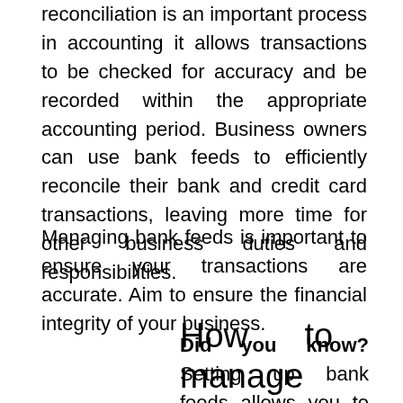reconciliation is an important process in accounting it allows transactions to be checked for accuracy and be recorded within the appropriate accounting period. Business owners can use bank feeds to efficiently reconcile their bank and credit card transactions, leaving more time for other business duties and responsibilities.
Managing bank feeds is important to ensure your transactions are accurate. Aim to ensure the financial integrity of your business.
Did you know? Setting up bank feeds allows you to reduce manual entry by 80%.
How to manage